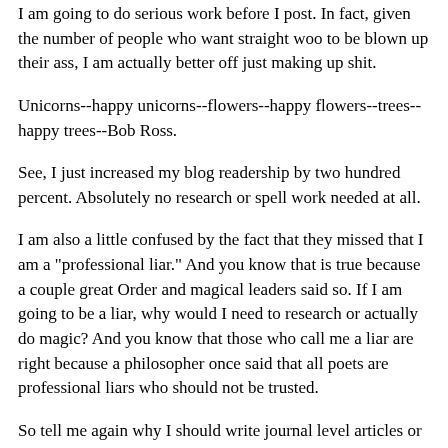I am going to do serious work before I post. In fact, given the number of people who want straight woo to be blown up their ass, I am actually better off just making up shit.
Unicorns--happy unicorns--flowers--happy flowers--trees--happy trees--Bob Ross.
See, I just increased my blog readership by two hundred percent. Absolutely no research or spell work needed at all.
I am also a little confused by the fact that they missed that I am a "professional liar." And you know that is true because a couple great Order and magical leaders said so. If I am going to be a liar, why would I need to research or actually do magic? And you know that those who call me a liar are right because a philosopher once said that all poets are professional liars who should not be trusted.
So tell me again why I should write journal level articles or perform serious magical research for what is essentially a blog to keep me from writing nasty urban fantasy novels and occult satire.